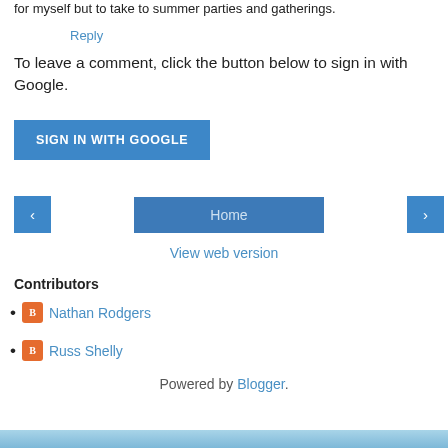for myself but to take to summer parties and gatherings.
Reply
To leave a comment, click the button below to sign in with Google.
SIGN IN WITH GOOGLE
‹   Home   ›
View web version
Contributors
Nathan Rodgers
Russ Shelly
Powered by Blogger.